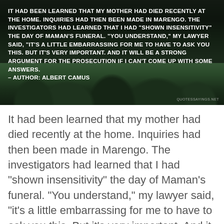[Figure (photo): Landscape photo of forested hills with dark sky. Overlaid with a bold white uppercase quote attributed to Albert Camus about inquiries into his mother's death and showing insensitivity at Maman's funeral. Watermark reads QUOTESSAYINGS.NET.]
It had been learned that my mother had died recently at the home. Inquiries had then been made in Marengo. The investigators had learned that I had "shown insensitivity" the day of Maman's funeral. "You understand," my lawyer said, "it's a little embarrassing for me to have to ask you this. But it's very important. And it will be a strong argument for the prosecution if I can't come up with some answers. — Albert Camus